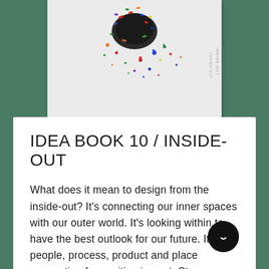[Figure (photo): Book cover showing colorful confetti/pencil shavings on a light gray background, with 'INSIDE-OUT' text printed vertically on the right spine. The book is displayed against a dark teal/green background.]
IDEA BOOK 10 / INSIDE-OUT
What does it mean to design from the inside-out? It's connecting our inner spaces with our outer world. It's looking within to have the best outlook for our future. It's people, process, product and place connecting for positive impact. Step